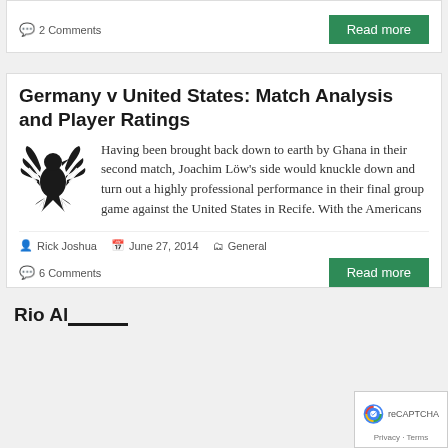2 Comments
Read more
Germany v United States: Match Analysis and Player Ratings
Having been brought back down to earth by Ghana in their second match, Joachim Löw's side would knuckle down and turn out a highly professional performance in their final group game against the United States in Recife. With the Americans
Rick Joshua   June 27, 2014   General
6 Comments
Read more
Rio Al...